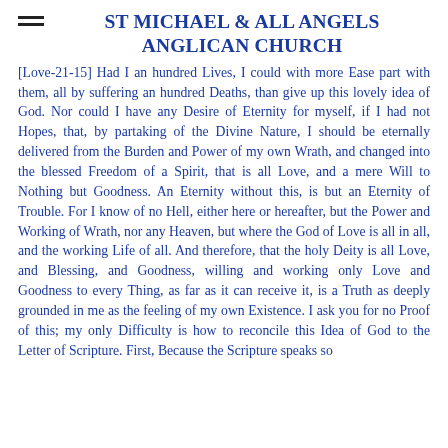ST MICHAEL & ALL ANGELS ANGLICAN CHURCH
[Love-21-15] Had I an hundred Lives, I could with more Ease part with them, all by suffering an hundred Deaths, than give up this lovely idea of God. Nor could I have any Desire of Eternity for myself, if I had not Hopes, that, by partaking of the Divine Nature, I should be eternally delivered from the Burden and Power of my own Wrath, and changed into the blessed Freedom of a Spirit, that is all Love, and a mere Will to Nothing but Goodness. An Eternity without this, is but an Eternity of Trouble. For I know of no Hell, either here or hereafter, but the Power and Working of Wrath, nor any Heaven, but where the God of Love is all in all, and the working Life of all. And therefore, that the holy Deity is all Love, and Blessing, and Goodness, willing and working only Love and Goodness to every Thing, as far as it can receive it, is a Truth as deeply grounded in me as the feeling of my own Existence. I ask you for no Proof of this; my only Difficulty is how to reconcile this Idea of God to the Letter of Scripture. First, Because the Scripture speaks so